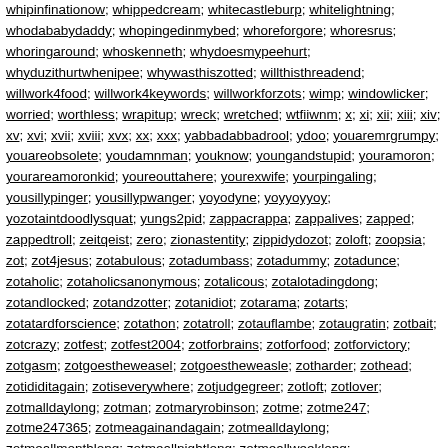whipinfinationow; whippedcream; whitecastleburp; whitelightning; whodababydaddy; whopingedinmybed; whoreforgore; whoresrus; whoringaround; whoskenneth; whydoesmypeehurt; whyduzithurtwhenipee; whywasthiszotted; willthisthreadend; willwork4food; willwork4keywords; willworkforzots; wimp; windowlicker; worried; worthless; wrapitup; wreck; wretched; wtfiiwnm; x; xi; xii; xiii; xiv; xv; xvi; xvii; xviii; xvx; xx; xxx; yabbadabbadrool; ydoo; youaremrgrumpy; youareobsolete; youdamnman; youknow; youngandstupid; youramoron; yourareamoronkid; youreouttahere; yourexwife; yourpingaling; yousillypinger; yousillypwanger; yoyodyne; yoyyoyyoy; yozotaintdoodlysquat; yungs2pid; zappacrappa; zappalives; zapped; zappedtroll; zeitqeist; zero; zionastentity; zippidydozot; zoloft; zoopsia; zot; zot4jesus; zotabulous; zotadumbass; zotadummy; zotadunce; zotaholic; zotaholicsanonymous; zotalicous; zotalotadingdong; zotandlocked; zotandzotter; zotanidiot; zotarama; zotarts; zotatardforscience; zotathon; zotatroll; zotauflambe; zotaugratin; zotbait; zotcrazy; zotfest; zotfest2004; zotforbrains; zotforfood; zotforvictory; zotgasm; zotgoestheweasel; zotgoestheweasle; zotharder; zothead; zotididitagain; zotiseverywhere; zotjudgegreer; zotloft; zotlover; zotmalldaylong; zotman; zotmaryrobinson; zotme; zotme247; zotme247365; zotmeagainandagain; zotmealldaylong; zotmeallmonthlong; zotmeallnightlong; zotmeallweeklong; zotmeallyearlong; zotmeatthepumps; zotmebaby; zotmebabyonemoretime; zotmeforever; zotmehard; zotmehardandlong; zotmeharder; zotmeimaidiot; zotmeimaloser; zotmeimanassclown; zotmeimanidiot; zotmeimdumb; zotmeimstupid; zotmeindanuts; zotmeintheass; zotmeinthebutt; zotmeinthecan; zotmeintheevening; zotmeintheface; zotmeinthemorning; zotmeintonextweek;